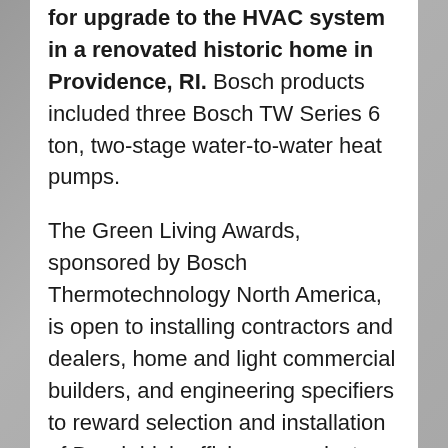for upgrade to the HVAC system in a renovated historic home in Providence, RI. Bosch products included three Bosch TW Series 6 ton, two-stage water-to-water heat pumps.
The Green Living Awards, sponsored by Bosch Thermotechnology North America, is open to installing contractors and dealers, home and light commercial builders, and engineering specifiers to reward selection and installation of Bosch high efficiency products. Prizes include $2,000 for First Place winners, $1,000 for Second Place winners and $500 for Third Place winners in the form of Visa Reward Cards. In addition, the Green Living...